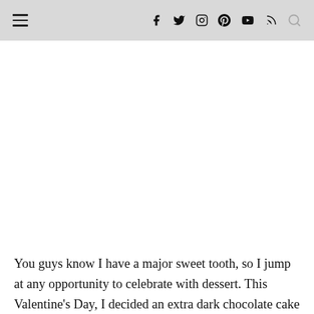≡  f  🐦  📷  𝗣  ▶  )))  🔍
[Figure (other): Large white/blank content area below navigation bar, representing an image placeholder]
You guys know I have a major sweet tooth, so I jump at any opportunity to celebrate with dessert. This Valentine's Day, I decided an extra dark chocolate cake would be totally appropriate... plus I was inspired by my recent trip to Molly's Cupcakes while in Chicago last weekend. I was store...